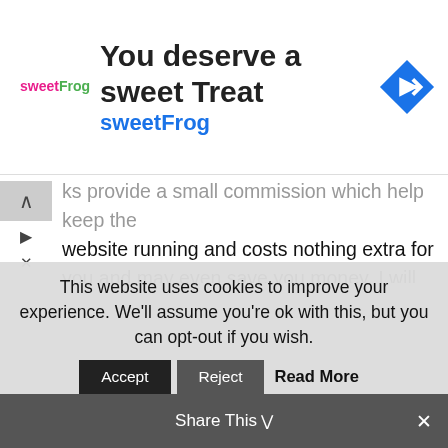[Figure (screenshot): SweetFrog ad banner with logo, tagline 'You deserve a sweet Treat', subtitle 'sweetFrog', and a navigation/directions icon]
ks provide a small commission which help keep the website running and costs nothing extra for you and may even save you money. I will not link to or recommend products or services that I would not use in my household. Paid reviews or items given to me for the purpose of review will be explicit mentioned at the beginning of the article.

Wagon Pilot Adventures is a participant in the Amazon Services LLC Associates Program, an
This website uses cookies to improve your experience. We'll assume you're ok with this, but you can opt-out if you wish.
Accept   Reject   Read More
Share This